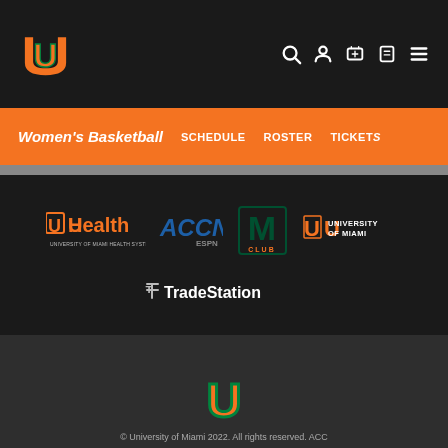[Figure (logo): University of Miami U logo in orange and green, top navigation bar]
Women's Basketball  SCHEDULE  ROSTER  TICKETS
[Figure (logo): Sponsor logos: UHealth University of Miami Health System, ACCN ESPN, M Club, University of Miami]
[Figure (logo): TradeStation sponsor logo]
[Figure (logo): University of Miami U logo in orange and green, footer]
© University of Miami 2022. All rights reserved. ACC